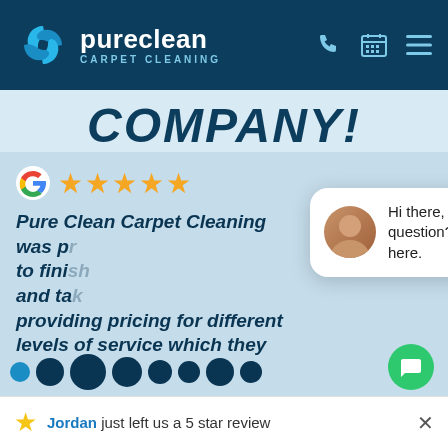[Figure (logo): Pure Clean Carpet Cleaning logo with blue swirl icon and white text on dark teal header background]
COMPANY!
[Figure (screenshot): Google 5-star rating with orange stars and partial review text reading: Pure Clean Carpet Cleaning was p... to fini... and ta... providing pricing for different levels of service which they]
[Figure (screenshot): Chat popup bubble with avatar photo of woman, text: Hi there, have a question? Text us here. With close button.]
Hi there, have a question? Text us here.
Jordan just left us a 5 star review